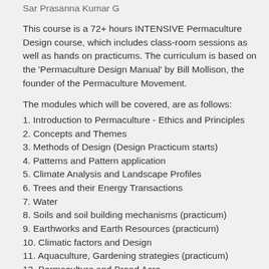Sar Prasanna Kumar G
This course is a 72+ hours INTENSIVE Permaculture Design course, which includes class-room sessions as well as hands on practicums. The curriculum is based on the 'Permaculture Design Manual' by Bill Mollison, the founder of the Permaculture Movement.
The modules which will be covered, are as follows:
1. Introduction to Permaculture - Ethics and Principles
2. Concepts and Themes
3. Methods of Design (Design Practicum starts)
4. Patterns and Pattern application
5. Climate Analysis and Landscape Profiles
6. Trees and their Energy Transactions
7. Water
8. Soils and soil building mechanisms (practicum)
9. Earthworks and Earth Resources (practicum)
10. Climatic factors and Design
11. Aquaculture, Gardening strategies (practicum)
12. [partially visible]